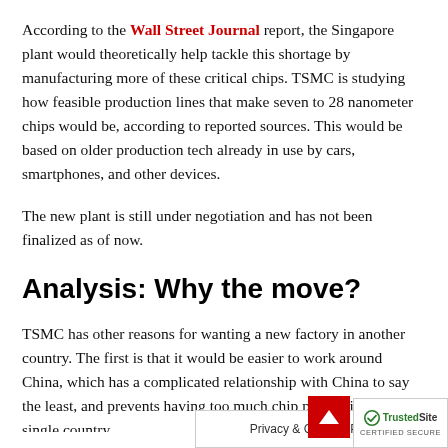According to the Wall Street Journal report, the Singapore plant would theoretically help tackle this shortage by manufacturing more of these critical chips. TSMC is studying how feasible production lines that make seven to 28 nanometer chips would be, according to reported sources. This would be based on older production tech already in use by cars, smartphones, and other devices.
The new plant is still under negotiation and has not been finalized as of now.
Analysis: Why the move?
TSMC has other reasons for wanting a new factory in another country. The first is that it would be easier to work around China, which has a complicated relationship with China to say the least, and prevents having too much chip production in a single country.